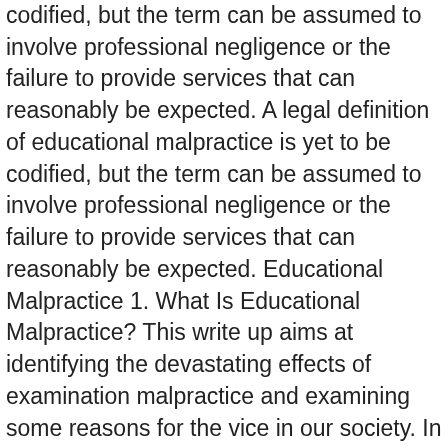codified, but the term can be assumed to involve professional negligence or the failure to provide services that can reasonably be expected. A legal definition of educational malpractice is yet to be codified, but the term can be assumed to involve professional negligence or the failure to provide services that can reasonably be expected. Educational Malpractice 1. What Is Educational Malpractice? This write up aims at identifying the devastating effects of examination malpractice and examining some reasons for the vice in our society. In this article, several cases relating to educational malpractice that took place in the U.S., the U.K., and Australia are reviewed, and the cases demonstrate that the courts are beginning to show a willingness to extend the tort of negligence to students' intellectual harm. Environmental factor. Educational Malpractice in a New Light It is widely known that plaintiffs' attorneys can be a determined and crafty lot. People have tried to sue schools in the past on the terms of professional negligence related to legal or medical malpractice. Educational Malpractice: The Concept, the Public, the Schools and the Courts. Educational